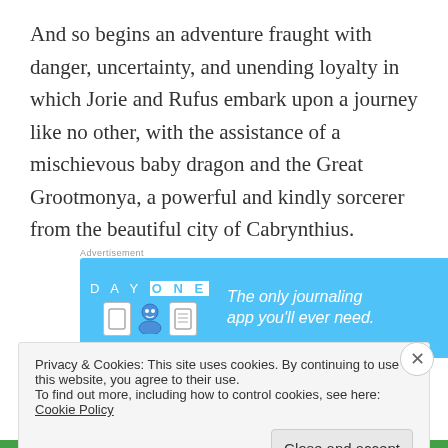And so begins an adventure fraught with danger, uncertainty, and unending loyalty in which Jorie and Rufus embark upon a journey like no other, with the assistance of a mischievous baby dragon and the Great Grootmonya, a powerful and kindly sorcerer from the beautiful city of Cabrynthius.
[Figure (screenshot): Advertisement banner for Day One journaling app on a blue background with icons and text 'The only journaling app you'll ever need.']
Will Jorie save the day?
Privacy & Cookies: This site uses cookies. By continuing to use this website, you agree to their use.
To find out more, including how to control cookies, see here: Cookie Policy
Close and accept